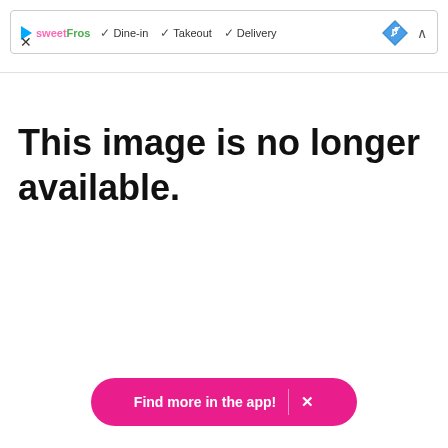[Figure (screenshot): UI bar showing SweetFrog logo with checkmarks for Dine-in, Takeout, Delivery, a blue navigation diamond icon, an up caret, and an X close button]
This image is no longer available.
Find more in the app! ×